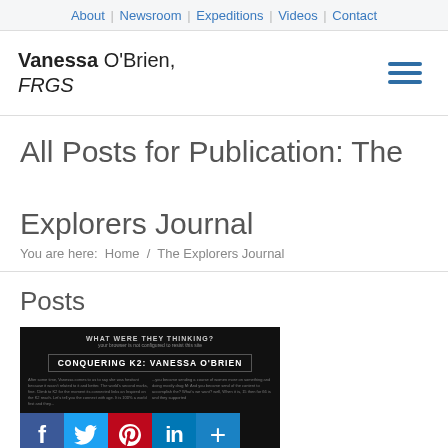About | Newsroom | Expeditions | Videos | Contact
Vanessa O'Brien, FRGS
All Posts for Publication: The Explorers Journal
You are here: Home / The Explorers Journal
Posts
[Figure (photo): Dark-themed article image with text 'WHAT WERE THEY THINKING?' and 'CONQUERING K2: VANESSA O'BRIEN' with body text below]
[Figure (infographic): Social sharing bar with Facebook, Twitter, Pinterest, LinkedIn, and More buttons]